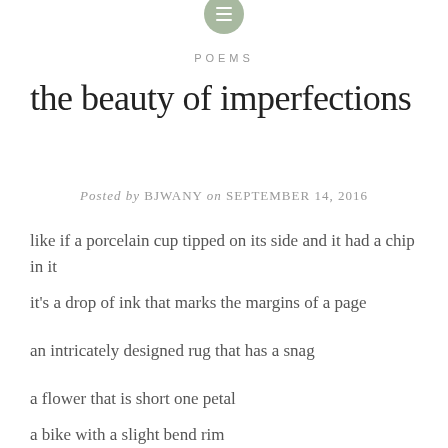[Figure (other): Small circular green/sage icon with three horizontal lines (hamburger menu icon) at the top center of the page]
POEMS
the beauty of imperfections
Posted by BJWANY on SEPTEMBER 14, 2016
like if a porcelain cup tipped on its side and it had a chip in it
it's a drop of ink that marks the margins of a page
an intricately designed rug that has a snag
a flower that is short one petal
a bike with a slight bend rim